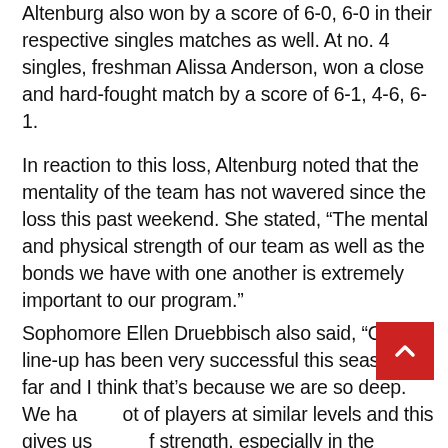Altenburg also won by a score of 6-0, 6-0 in their respective singles matches as well. At no. 4 singles, freshman Alissa Anderson, won a close and hard-fought match by a score of 6-1, 4-6, 6-1.
In reaction to this loss, Altenburg noted that the mentality of the team has not wavered since the loss this past weekend. She stated, “The mental and physical strength of our team as well as the bonds we have with one another is extremely important to our program.”
Sophomore Ellen Druebbisch also said, “Our line-up has been very successful this season so far and I think that’s because we are so deep. We have a lot of players at similar levels and this gives us a lot of strength, especially in the bottom three singles spots. We have also been working a lot on doubles